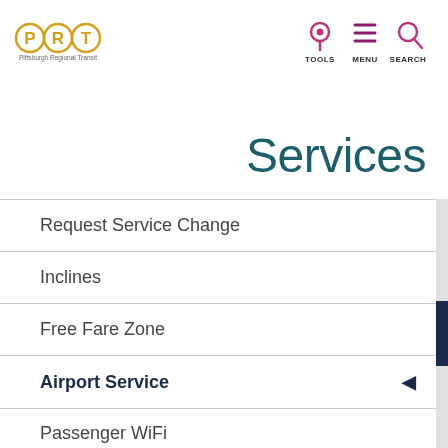[Figure (logo): Pittsburgh Regional Transit (PRT) logo with P, R, T letters in yellow circles]
[Figure (infographic): Navigation icons: location pin, hamburger menu, search magnifier with labels TOOLS, MENU, SEARCH in magenta/pink]
Services
Request Service Change
Inclines
Free Fare Zone
Airport Service
Passenger WiFi